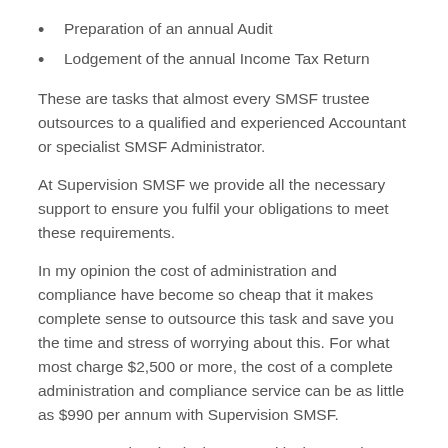Preparation of an annual Audit
Lodgement of the annual Income Tax Return
These are tasks that almost every SMSF trustee outsources to a qualified and experienced Accountant or specialist SMSF Administrator.
At Supervision SMSF we provide all the necessary support to ensure you fulfil your obligations to meet these requirements.
In my opinion the cost of administration and compliance have become so cheap that it makes complete sense to outsource this task and save you the time and stress of worrying about this. For what most charge $2,500 or more, the cost of a complete administration and compliance service can be as little as $990 per annum with Supervision SMSF.
Investment Planning is the most critical aspect in my